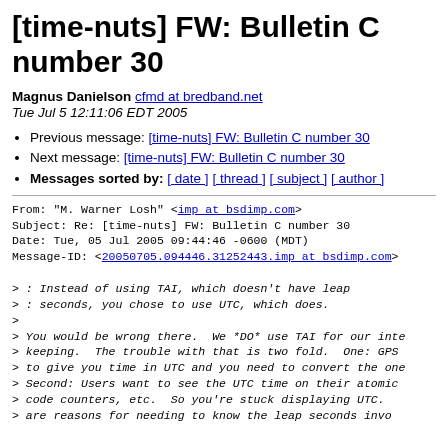[time-nuts] FW: Bulletin C number 30
Magnus Danielson cfmd at bredband.net
Tue Jul 5 12:11:06 EDT 2005
Previous message: [time-nuts] FW: Bulletin C number 30
Next message: [time-nuts] FW: Bulletin C number 30
Messages sorted by: [ date ] [ thread ] [ subject ] [ author ]
From: "M. Warner Losh" <imp at bsdimp.com>
Subject: Re: [time-nuts] FW: Bulletin C number 30
Date: Tue, 05 Jul 2005 09:44:46 -0600 (MDT)
Message-ID: <20050705.094446.31252443.imp at bsdimp.com>

> : Instead of using TAI, which doesn't have leap
> : seconds, you chose to use UTC, which does.
>
> You would be wrong there.  We *DO* use TAI for our inte
> keeping.  The trouble with that is two fold.  One: GPS
> to give you time in UTC and you need to convert the one
> Second: Users want to see the UTC time on their atomic
> code counters, etc.  So you're stuck displaying UTC.
> are reasons for needing to know the leap seconds invol